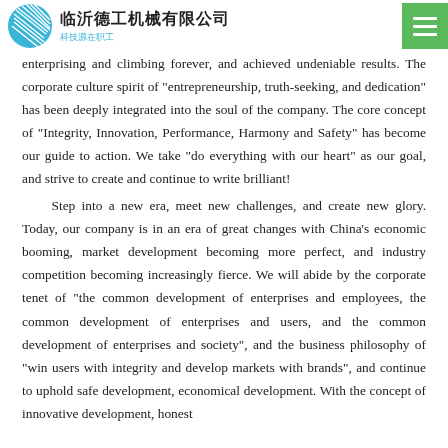临沂德工机械有限公司
enterprising and climbing forever, and achieved undeniable results. The corporate culture spirit of "entrepreneurship, truth-seeking, and dedication" has been deeply integrated into the soul of the company. The core concept of "Integrity, Innovation, Performance, Harmony and Safety" has become our guide to action. We take "do everything with our heart" as our goal, and strive to create and continue to write brilliant!
Step into a new era, meet new challenges, and create new glory. Today, our company is in an era of great changes with China's economic booming, market development becoming more perfect, and industry competition becoming increasingly fierce. We will abide by the corporate tenet of "the common development of enterprises and employees, the common development of enterprises and users, and the common development of enterprises and society", and the business philosophy of "win users with integrity and develop markets with brands", and continue to uphold safe development, economical development. With the concept of innovative development, honest